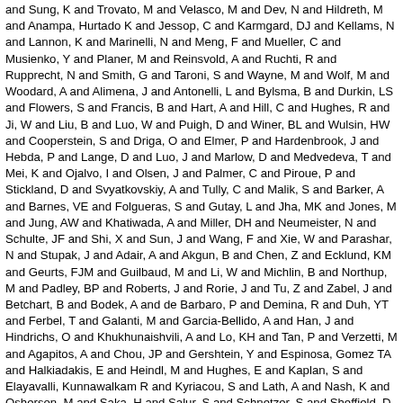and Sung, K and Trovato, M and Velasco, M and Dev, N and Hildreth, M and Anampa, Hurtado K and Jessop, C and Karmgard, DJ and Kellams, N and Lannon, K and Marinelli, N and Meng, F and Mueller, C and Musienko, Y and Planer, M and Reinsvold, A and Ruchti, R and Rupprecht, N and Smith, G and Taroni, S and Wayne, M and Wolf, M and Woodard, A and Alimena, J and Antonelli, L and Bylsma, B and Durkin, LS and Flowers, S and Francis, B and Hart, A and Hill, C and Hughes, R and Ji, W and Liu, B and Luo, W and Puigh, D and Winer, BL and Wulsin, HW and Cooperstein, S and Driga, O and Elmer, P and Hardenbrook, J and Hebda, P and Lange, D and Luo, J and Marlow, D and Medvedeva, T and Mei, K and Ojalvo, I and Olsen, J and Palmer, C and Piroue, P and Stickland, D and Svyatkovskiy, A and Tully, C and Malik, S and Barker, A and Barnes, VE and Folgueras, S and Gutay, L and Jha, MK and Jones, M and Jung, AW and Khatiwada, A and Miller, DH and Neumeister, N and Schulte, JF and Shi, X and Sun, J and Wang, F and Xie, W and Parashar, N and Stupak, J and Adair, A and Akgun, B and Chen, Z and Ecklund, KM and Geurts, FJM and Guilbaud, M and Li, W and Michlin, B and Northup, M and Padley, BP and Roberts, J and Rorie, J and Tu, Z and Zabel, J and Betchart, B and Bodek, A and de Barbaro, P and Demina, R and Duh, YT and Ferbel, T and Galanti, M and Garcia-Bellido, A and Han, J and Hindrichs, O and Khukhunaishvili, A and Lo, KH and Tan, P and Verzetti, M and Agapitos, A and Chou, JP and Gershtein, Y and Espinosa, Gomez TA and Halkiadakis, E and Heindl, M and Hughes, E and Kaplan, S and Elayavalli, Kunnawalkam R and Kyriacou, S and Lath, A and Nash, K and Osherson, M and Saka, H and Salur, S and Schnetzer, S and Sheffield, D and Somalwar, S and Stone, R and Thomas, S and Thomassen, P and Walker, M and Delannoy, AG and Foerster, M and Heideman, J and Riley, G and Rose, K and Spanier, S and Thapa, K and Bouhali, O and Celik, A and Dalchenko, M and De Mattia, M and Delgado, A and Dildick, S and Eusebi, R and Gilmore, J and Huang, T and Juska, E and Kamon, T and Mueller, R and Pakhotin, Y and Patel, R and Perloff, A and Pernie, L and Rathjens, D and Safonov, A and Tatarinov, A and Ulmer, KA and